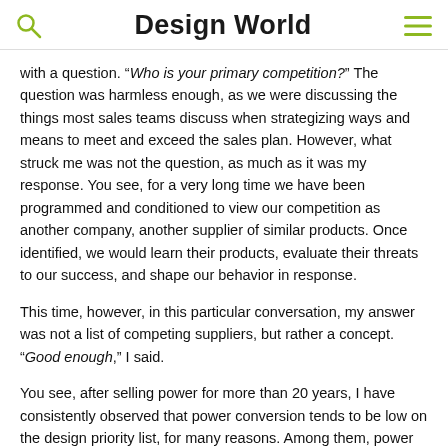Design World
with a question. “Who is your primary competition?” The question was harmless enough, as we were discussing the things most sales teams discuss when strategizing ways and means to meet and exceed the sales plan. However, what struck me was not the question, as much as it was my response. You see, for a very long time we have been programmed and conditioned to view our competition as another company, another supplier of similar products. Once identified, we would learn their products, evaluate their threats to our success, and shape our behavior in response.
This time, however, in this particular conversation, my answer was not a list of competing suppliers, but rather a concept. “Good enough,” I said.
You see, after selling power for more than 20 years, I have consistently observed that power conversion tends to be low on the design priority list, for many reasons. Among them, power